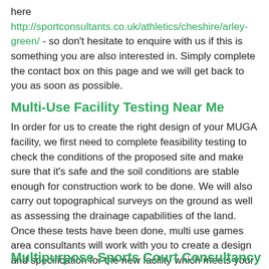here http://sportconsultants.co.uk/athletics/cheshire/arley-green/ - so don't hesitate to enquire with us if this is something you are also interested in. Simply complete the contact box on this page and we will get back to you as soon as possible.
Multi-Use Facility Testing Near Me
In order for us to create the right design of your MUGA facility, we first need to complete feasibility testing to check the conditions of the proposed site and make sure that it's safe and the soil conditions are stable enough for construction work to be done. We will also carry out topographical surveys on the ground as well as assessing the drainage capabilities of the land. Once these tests have been done, multi use games area consultants will work with you to create a design and specification for the new facility which meets your requirements in terms of playability, budget and available space. We'll also assist you in applying for planning permission should it be needed on your project, along with carrying out a tender process to find the right contractor at the best value price.
Multipurpose Sports Court Consultancy